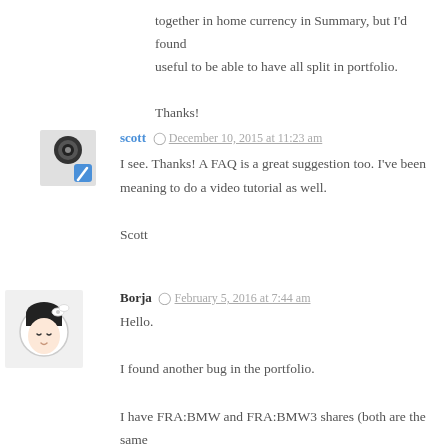together in home currency in Summary, but I'd found useful to be able to have all split in portfolio.

Thanks!
scott  December 10, 2015 at 11:23 am
I see. Thanks! A FAQ is a great suggestion too. I've been meaning to do a video tutorial as well.

Scott
Borja  February 5, 2016 at 7:44 am
Hello.

I found another bug in the portfolio.

I have FRA:BMW and FRA:BMW3 shares (both are the same company but they are different shares) and the portfolio shows both together.

Do you know how I can fix it?